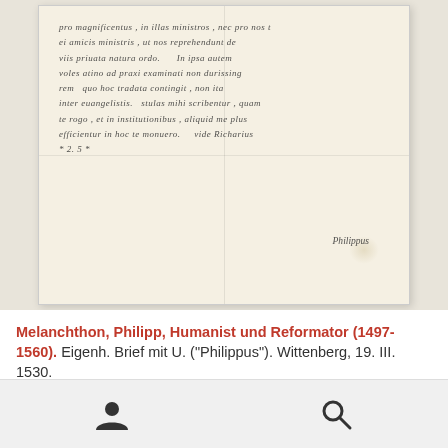[Figure (photo): Photograph of a historical handwritten manuscript letter in cursive Latin script on aged paper, showing multiple lines of text with a signature 'Philippus' at the bottom right. The paper shows fold lines and age stains.]
Melanchthon, Philipp, Humanist und Reformator (1497-1560). Eigenh. Brief mit U. ("Philippus"). Wittenberg, 19. III. 1530.
€ 28.000,00